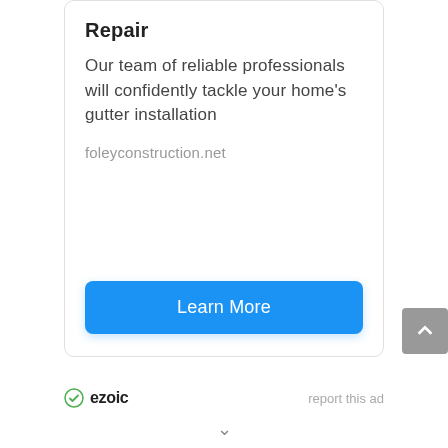Repair
Our team of reliable professionals will confidently tackle your home's gutter installation
foleyconstruction.net
[Figure (other): Blue 'Learn More' button]
[Figure (logo): Ezoic logo with report this ad link]
[Figure (other): Grey scroll-to-top button with upward chevron]